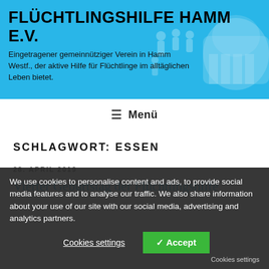FLÜCHTLINGSHILFE HAMM E.V.
Eingetragener gemeinnütziger Verein in Hamm Westf., der aktive Hilfe für Flüchtlinge im alltäglichen Leben bietet.
[Figure (illustration): Silhouette of people figures and a building/elephant shape on a blue background]
≡  Menü
SCHLAGWORT: ESSEN
28. APRIL 2019
Vierter Geburtstag der Flüchtlingshilfe
We use cookies to personalise content and ads, to provide social media features and to analyse our traffic. We also share information about your use of our site with our social media, advertising and analytics partners.
Cookies settings   ✓ Accept
Cookies settings